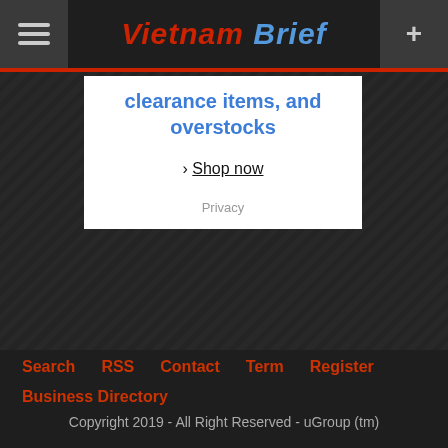Vietnam Brief
[Figure (screenshot): Advertisement box with text 'clearance items, and overstocks', a 'Shop now' link, and 'Privacy' text]
clearance items, and overstocks
› Shop now
Privacy
Search   RSS   Contact   Term   Register
Business Directory
Copyright 2019 - All Right Reserved - uGroup (tm)